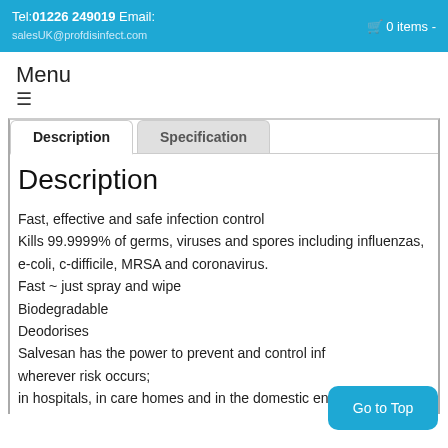Tel: 01226 249019 Email: salesUK@profdisinfect.com  🛒 0 items -
Menu ≡
Description
Fast, effective and safe infection control
Kills 99.9999% of germs, viruses and spores including influenzas,
e-coli, c-difficile, MRSA and coronavirus.
Fast ~ just spray and wipe
Biodegradable
Deodorises
Salvesan has the power to prevent and control infection wherever risk occurs;
in hospitals, in care homes and in the domestic environment.